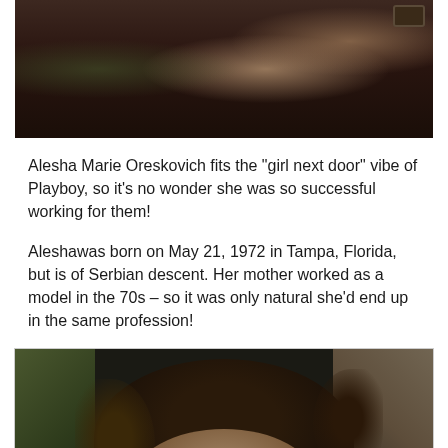[Figure (photo): Partial photo of a woman in a dark brown top, showing torso and arms with a bracelet on one wrist, outdoor background with green foliage.]
Alesha Marie Oreskovich fits the “girl next door” vibe of Playboy, so it’s no wonder she was so successful working for them!
Aleshawas born on May 21, 1972 in Tampa, Florida, but is of Serbian descent. Her mother worked as a model in the 70s – so it was only natural she’d end up in the same profession!
[Figure (photo): Photo of a woman with curly dark hair pulled up, outdoor background with green foliage and light-colored elements.]